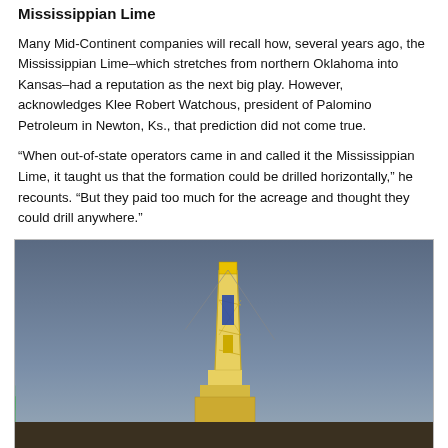Mississippian Lime
Many Mid-Continent companies will recall how, several years ago, the Mississippian Lime–which stretches from northern Oklahoma into Kansas–had a reputation as the next big play. However, acknowledges Klee Robert Watchous, president of Palomino Petroleum in Newton, Ks., that prediction did not come true.
“When out-of-state operators came in and called it the Mississippian Lime, it taught us that the formation could be drilled horizontally,” he recounts. “But they paid too much for the acreage and thought they could drill anywhere.”
[Figure (photo): A drilling rig photographed against a dramatic overcast sky with a rainbow arcing behind it. The rig is a tall yellow and blue lattice structure with a yellow crown block at the top.]